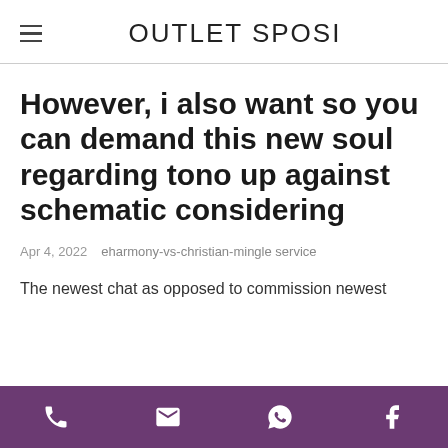OUTLET SPOSI
However, i also want so you can demand this new soul regarding tono up against schematic considering
Apr 4, 2022   eharmony-vs-christian-mingle service
The newest chat as opposed to commission newest